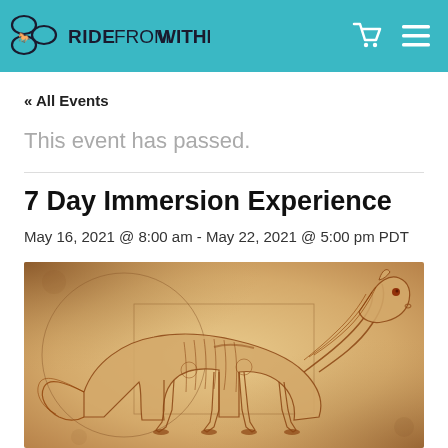RIDE FROM WITHIN
« All Events
This event has passed.
7 Day Immersion Experience
May 16, 2021 @ 8:00 am - May 22, 2021 @ 5:00 pm PDT
[Figure (illustration): Da Vinci-style anatomical sketch of a horse in sepia tones on aged parchment background, showing skeletal and muscular details with geometric circle overlay]